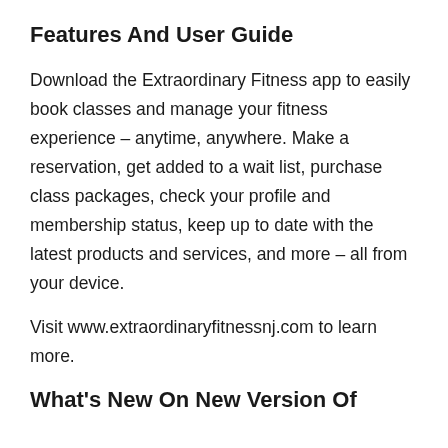Features And User Guide
Download the Extraordinary Fitness app to easily book classes and manage your fitness experience – anytime, anywhere. Make a reservation, get added to a wait list, purchase class packages, check your profile and membership status, keep up to date with the latest products and services, and more – all from your device.
Visit www.extraordinaryfitnessnj.com to learn more.
What's New On New Version Of